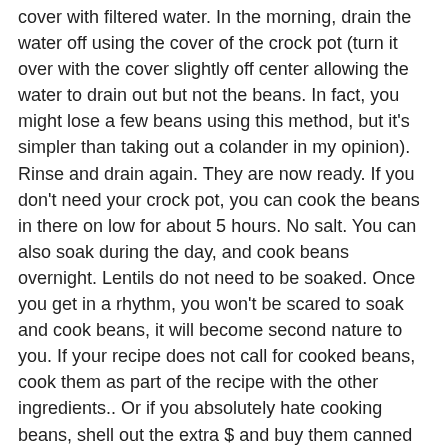cover with filtered water. In the morning, drain the water off using the cover of the crock pot (turn it over with the cover slightly off center allowing the water to drain out but not the beans. In fact, you might lose a few beans using this method, but it's simpler than taking out a colander in my opinion). Rinse and drain again. They are now ready. If you don't need your crock pot, you can cook the beans in there on low for about 5 hours. No salt. You can also soak during the day, and cook beans overnight. Lentils do not need to be soaked. Once you get in a rhythm, you won't be scared to soak and cook beans, it will become second nature to you. If your recipe does not call for cooked beans, cook them as part of the recipe with the other ingredients.. Or if you absolutely hate cooking beans, shell out the extra $ and buy them canned or frozen:)
9. You can also use your crock pot to cook rice and other grains for a few hours (not all day). Works great with "sauteed" onions and mushrooms first.
10. Don't take my measurements too seriously. If you want more of one spice and less of another, go for it!  I love